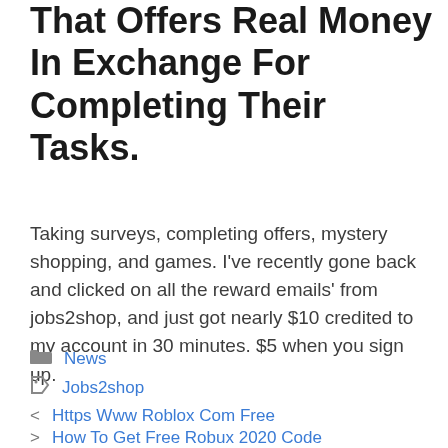That Offers Real Money In Exchange For Completing Their Tasks.
Taking surveys, completing offers, mystery shopping, and games. I've recently gone back and clicked on all the reward emails' from jobs2shop, and just got nearly $10 credited to my account in 30 minutes. $5 when you sign up.
News
Jobs2shop
Https Www Roblox Com Free
How To Get Free Robux 2020 Code